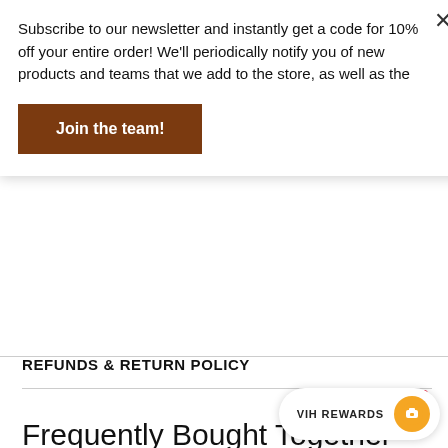Subscribe to our newsletter and instantly get a code for 10% off your entire order! We'll periodically notify you of new products and teams that we add to the store, as well as the
Join the team!
REFUNDS & RETURN POLICY
[Figure (other): Pinterest Save button (red, with Pinterest logo)]
Frequently Bought Together
[Figure (photo): Green hoodie with logo, partial view]
[Figure (photo): Dark navy hoodie, partial view]
[Figure (photo): Dark hoodie with yellow graphics, partial view]
VIH REWARDS